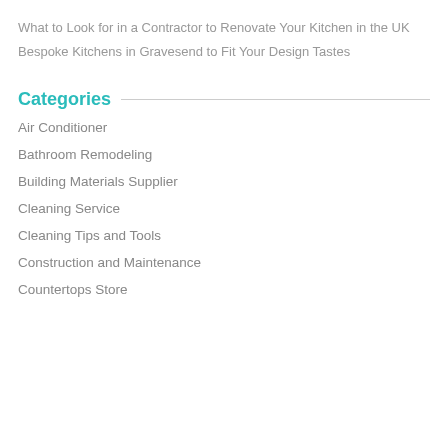What to Look for in a Contractor to Renovate Your Kitchen in the UK
Bespoke Kitchens in Gravesend to Fit Your Design Tastes
Categories
Air Conditioner
Bathroom Remodeling
Building Materials Supplier
Cleaning Service
Cleaning Tips and Tools
Construction and Maintenance
Countertops Store